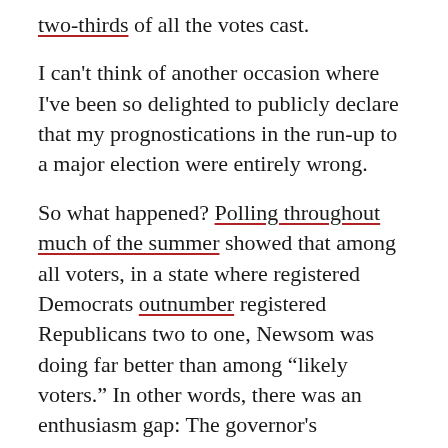two-thirds of all the votes cast.
I can't think of another occasion where I've been so delighted to publicly declare that my prognostications in the run-up to a major election were entirely wrong.
So what happened? Polling throughout much of the summer showed that among all voters, in a state where registered Democrats outnumber registered Republicans two to one, Newsom was doing far better than among “likely voters.” In other words, there was an enthusiasm gap: The governor's supporters seemed to be more passive, and